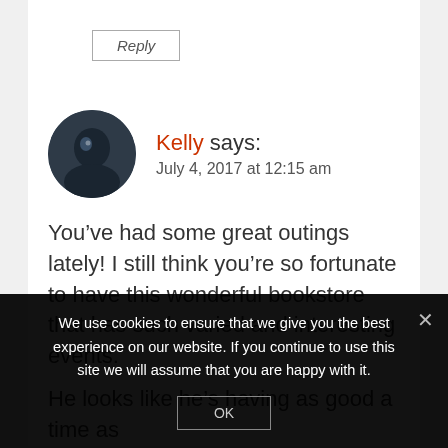Reply
Kelly says:
July 4, 2017 at 12:15 am
You’ve had some great outings lately! I still think you’re so fortunate to have this wonderful bookstore that has such varied and interesting events.

He looks like he’s having as good a time as
We use cookies to ensure that we give you the best experience on our website. If you continue to use this site we will assume that you are happy with it.
OK